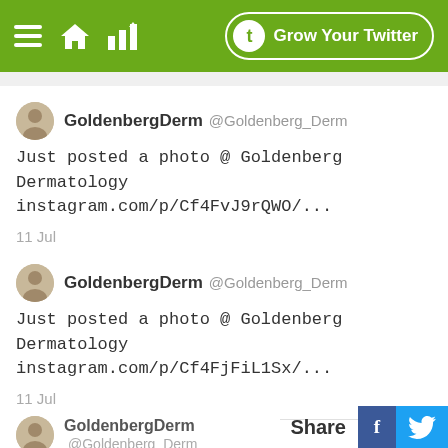[Figure (screenshot): Green navigation bar with hamburger menu, home icon, bar chart icon, and 'Grow Your Twitter' button with circular t logo]
GoldenbergDerm @Goldenberg_Derm
Just posted a photo @ Goldenberg Dermatology instagram.com/p/Cf4FvJ9rQWO/...
11 Jul
GoldenbergDerm @Goldenberg_Derm
Just posted a photo @ Goldenberg Dermatology instagram.com/p/Cf4FjFiL1Sx/...
11 Jul
GoldenbergDerm @Goldenberg_Derm
[Figure (screenshot): Share bar with Twitter and Facebook icons and Share label]